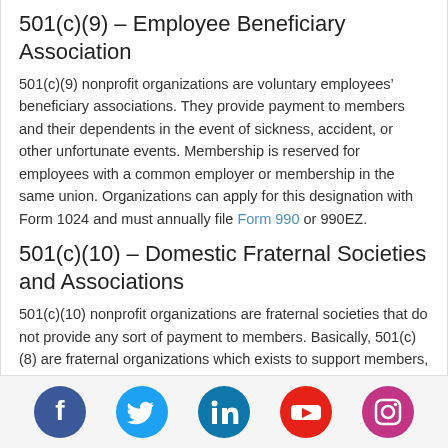501(c)(9) – Employee Beneficiary Association
501(c)(9) nonprofit organizations are voluntary employees' beneficiary associations. They provide payment to members and their dependents in the event of sickness, accident, or other unfortunate events. Membership is reserved for employees with a common employer or membership in the same union. Organizations can apply for this designation with Form 1024 and must annually file Form 990 or 990EZ.
501(c)(10) – Domestic Fraternal Societies and Associations
501(c)(10) nonprofit organizations are fraternal societies that do not provide any sort of payment to members. Basically, 501(c)(8) are fraternal organizations which exists to support members, while 501(c)(10) are fraternal organizations which use member dues to support outside causes with no benefits for members.
501(c)(11) – Teacher's Retirement Fund Associations
[Figure (other): Social media icon links: Facebook, Twitter, LinkedIn, YouTube, Instagram]